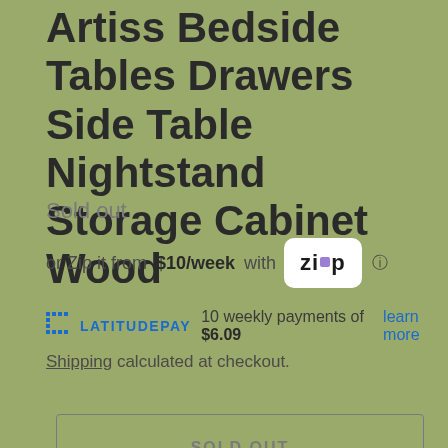Artiss Bedside Tables Drawers Side Table Nightstand Storage Cabinet Wood
Sold out
or Zip it from $10/week with Zip
LATITUDE PAY 10 weekly payments of $6.09 learn more
Shipping calculated at checkout.
SOLD OUT